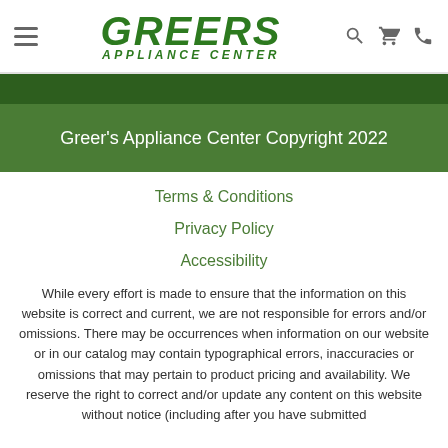Greer's Appliance Center - Navigation header with hamburger menu, logo, search, cart, and phone icons
Greer's Appliance Center Copyright 2022
Terms & Conditions
Privacy Policy
Accessibility
While every effort is made to ensure that the information on this website is correct and current, we are not responsible for errors and/or omissions. There may be occurrences when information on our website or in our catalog may contain typographical errors, inaccuracies or omissions that may pertain to product pricing and availability. We reserve the right to correct and/or update any content on this website without notice (including after you have submitted